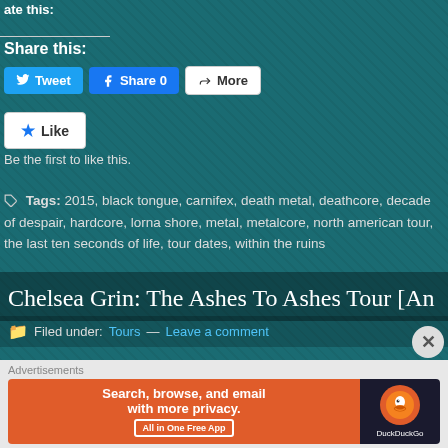ate this:
Share this:
Tweet  Share 0  More
Like  Be the first to like this.
Tags: 2015, black tongue, carnifex, death metal, deathcore, decade of despair, hardcore, lorna shore, metal, metalcore, north american tour, the last ten seconds of life, tour dates, within the ruins
Chelsea Grin: The Ashes To Ashes Tour [An
Filed under: Tours — Leave a comment
Advertisements Search, browse, and email with more privacy. All in One Free App DuckDuckGo